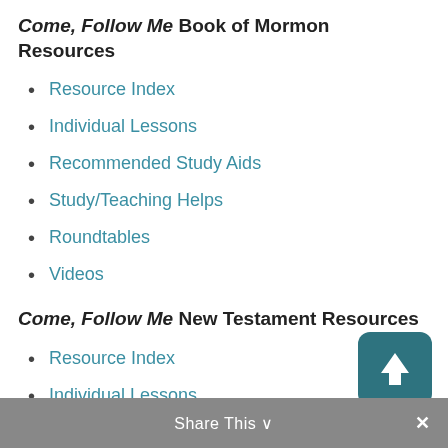Come, Follow Me Book of Mormon Resources
Resource Index
Individual Lessons
Recommended Study Aids
Study/Teaching Helps
Roundtables
Videos
Come, Follow Me New Testament Resources
Resource Index
Individual Lessons
Recommended Study Aids
Roundtables
Videos
Share This